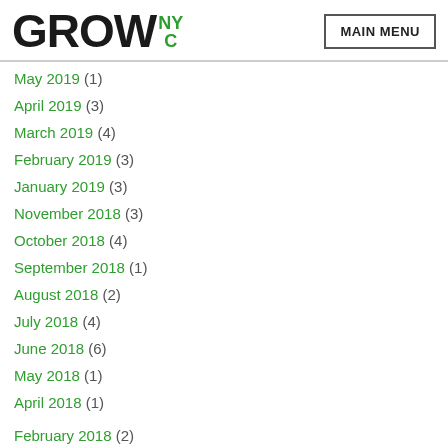GROWNYC — MAIN MENU
May 2019 (1)
April 2019 (3)
March 2019 (4)
February 2019 (3)
January 2019 (3)
November 2018 (3)
October 2018 (4)
September 2018 (1)
August 2018 (2)
July 2018 (4)
June 2018 (6)
May 2018 (1)
April 2018 (1)
February 2018 (2)